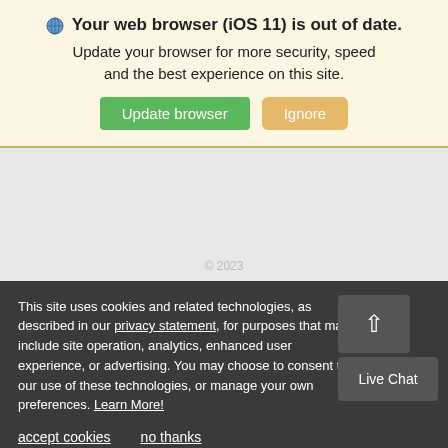Your web browser (iOS 11) is out of date.
Update your browser for more security, speed and the best experience on this site.
This site uses cookies and related technologies, as described in our privacy statement, for purposes that may include site operation, analytics, enhanced user experience, or advertising. You may choose to consent to our use of these technologies, or manage your own preferences. Learn More!
accept cookies
no thanks